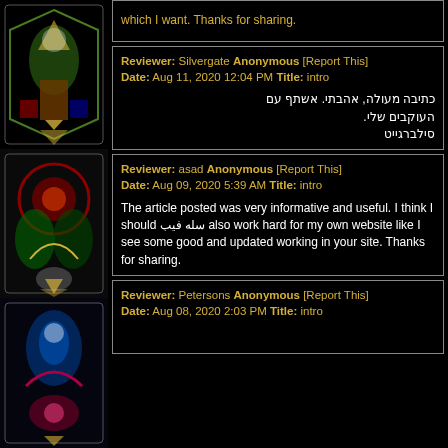which I want. Thanks for sharing.
Reviewer: Silvergate Anonymous [Report This] Date: Aug 11, 2020 12:04 PM Title: intro

כתיבה מעולה, אהבתי. אשתף עם העוקבים שלי.
סילברגייט
Reviewer: asad Anonymous [Report This] Date: Aug 09, 2020 5:39 AM Title: intro

The article posted was very informative and useful. I think I should سله فيب also work hard for my own website like I see some good and updated working in your site. Thanks for sharing.
Reviewer: Petersons Anonymous [Report This] Date: Aug 08, 2020 2:03 PM Title: intro